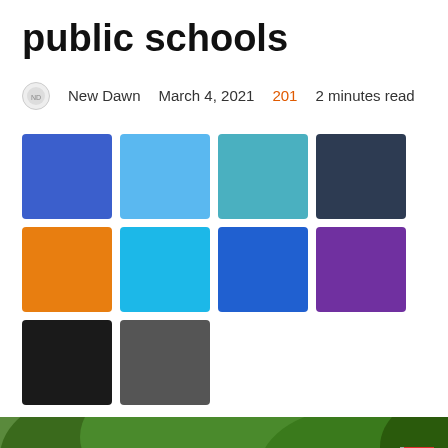public schools
New Dawn   March 4, 2021   201   2 minutes read
[Figure (other): Social media share icons: blue Facebook, light blue Twitter, teal, dark navy, orange, cyan, royal blue, purple, black, dark gray]
[Figure (photo): Close-up photo of a bald African man in a dark suit with red shirt, speaking outdoors with green trees in background]